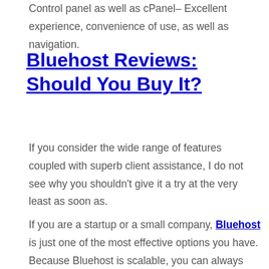Control panel as well as cPanel– Excellent experience, convenience of use, as well as navigation.
Bluehost Reviews: Should You Buy It?
If you consider the wide range of features coupled with superb client assistance, I do not see why you shouldn't give it a try at the very least as soon as.
If you are a startup or a small company, Bluehost is just one of the most effective options you have. Because Bluehost is scalable, you can always update your plan to a greater strategy as your business starts to grow.
When it involves uptime and also filling time, Bluehost continues to rank amongst the top web hosting provider.